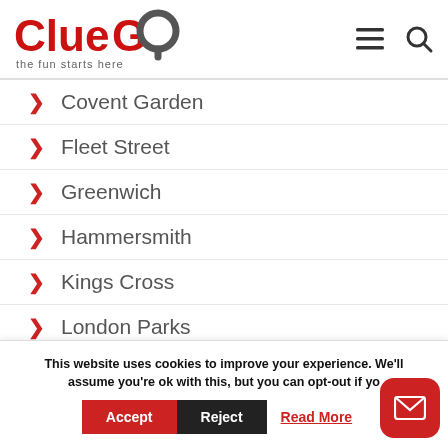[Figure (logo): ClueGo logo with red and grey text and location pin icon, tagline: the fun starts here]
Covent Garden
Fleet Street
Greenwich
Hammersmith
Kings Cross
London Parks
This website uses cookies to improve your experience. We'll assume you're ok with this, but you can opt-out if yo Accept Reject Read More